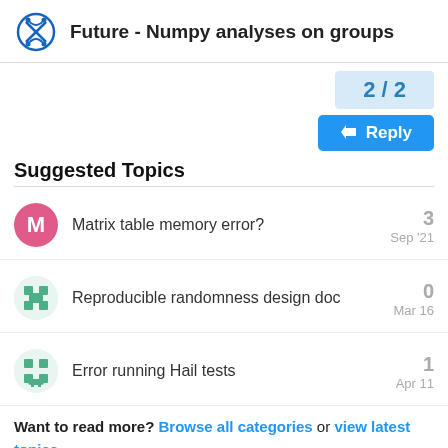Future - Numpy analyses on groups
2 / 2
Reply
Suggested Topics
Matrix table memory error? — 3 replies — Sep '21
Reproducible randomness design doc — 0 replies — Mar 16
Error running Hail tests — 1 reply — Apr 11
Want to read more? Browse all categories or view latest topics.